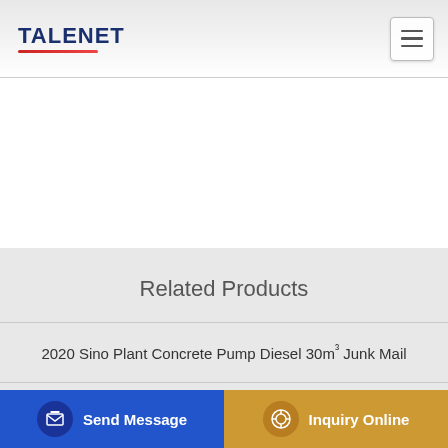TALENET
Related Products
2020 Sino Plant Concrete Pump Diesel 30m³ Junk Mail
Pochin Concrete Pumping in Colnbrook Slough
HOSTETLER CONCRETE PUMPING USDOT 2220100
Send Message | Inquiry Online